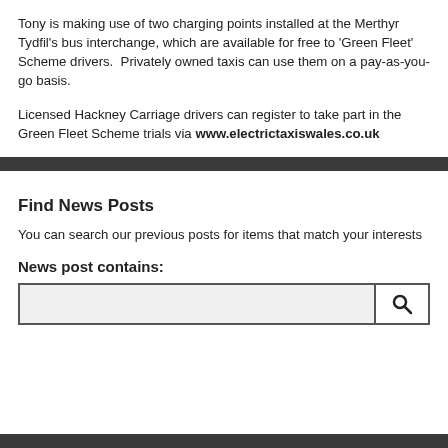Tony is making use of two charging points installed at the Merthyr Tydfil's bus interchange, which are available for free to 'Green Fleet' Scheme drivers.  Privately owned taxis can use them on a pay-as-you-go basis.
Licensed Hackney Carriage drivers can register to take part in the Green Fleet Scheme trials via www.electrictaxiswales.co.uk
Find News Posts
You can search our previous posts for items that match your interests
News post contains: